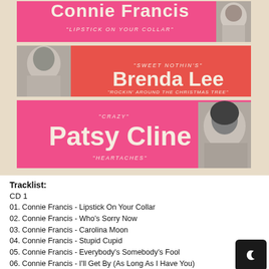[Figure (illustration): Album cover art showing three horizontal banner strips for Connie Francis, Brenda Lee, and Patsy Cline with pink/red backgrounds and black-and-white portrait photos. Banners show song titles: 'Lipstick On Your Collar', 'Sweet Nothin's', 'Rockin' Around The Christmas Tree', 'Crazy', 'Heartaches'.]
Tracklist:
CD 1
01. Connie Francis - Lipstick On Your Collar
02. Connie Francis - Who's Sorry Now
03. Connie Francis - Carolina Moon
04. Connie Francis - Stupid Cupid
05. Connie Francis - Everybody's Somebody's Fool
06. Connie Francis - I'll Get By (As Long As I Have You)